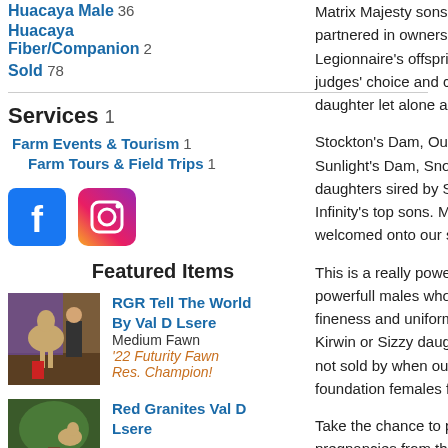Huacaya Male 36
Huacaya Fiber/Companion 2
Sold 78
Services 1
Farm Events & Tourism 1
Farm Tours & Field Trips 1
[Figure (logo): Facebook and Instagram social media icons]
Featured Items
[Figure (photo): Alpaca with handler at show, medium fawn coloring]
RGR Tell The World By Val D Lsere
Medium Fawn
'22 Futurity Fawn Res. Champion!
[Figure (photo): Red Granites Val D Lsere alpaca photo]
Red Granites Val D Lsere
Matrix Majesty sons that is a Futu... partnered in ownership between Re... Legionnaire's offspring have won S... judges' choice and championship b... daughter let alone a son.
Stockton's Dam, Our Sunlight, is a... Sunlight's Dam, Snowmass Sunset... daughters sired by Snowmass Inca... Infinity's top sons. Making Stockto... welcomed onto our sales list.
This is a really powerful stud son o... powerfull males who will bring yo... fineness and uniformity. Personally... Kirwin or Sizzy daughters needing... not sold by when our 2022 females... foundation females for 2023 offspr...
Take the chance to purchase this ma... pregnancies from this male and his...